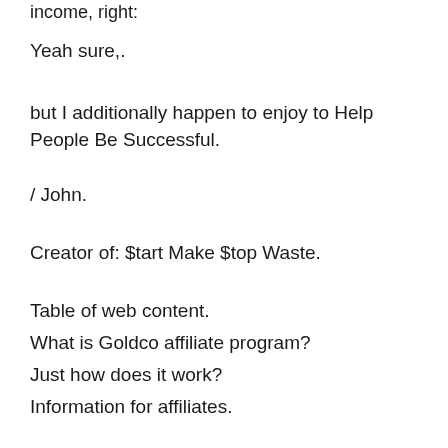income, right:
Yeah sure,.
but I additionally happen to enjoy to Help People Be Successful.
/ John.
Creator of: $tart Make $top Waste.
Table of web content.
What is Goldco affiliate program?
Just how does it work?
Information for affiliates.
Earning possibilities.
Some instances of my commissions & incomes.